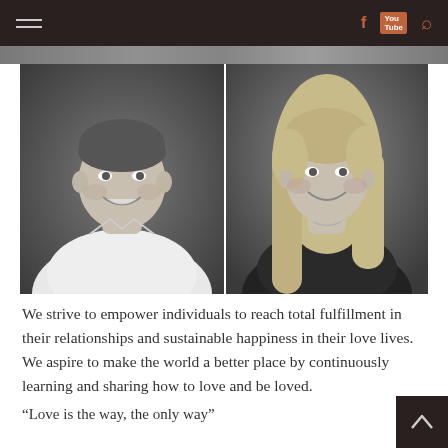Navigation header with hamburger menu and social icons (Facebook, YouTube, Search)
[Figure (photo): Two black and white portrait photos side by side: left shows a smiling bald man in a white shirt, right shows a smiling blonde woman in a dark top]
We strive to empower individuals to reach total fulfillment in their relationships and sustainable happiness in their love lives. We aspire to make the world a better place by continuously learning and sharing how to love and be loved.
“Love is the way, the only way”